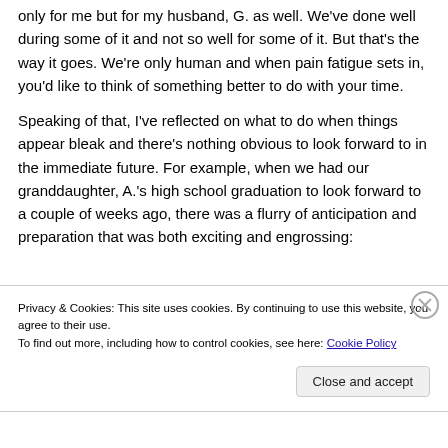only for me but for my husband, G. as well. We've done well during some of it and not so well for some of it. But that's the way it goes. We're only human and when pain fatigue sets in, you'd like to think of something better to do with your time.
Speaking of that, I've reflected on what to do when things appear bleak and there's nothing obvious to look forward to in the immediate future. For example, when we had our granddaughter, A.'s high school graduation to look forward to a couple of weeks ago, there was a flurry of anticipation and preparation that was both exciting and engrossing:
Privacy & Cookies: This site uses cookies. By continuing to use this website, you agree to their use.
To find out more, including how to control cookies, see here: Cookie Policy